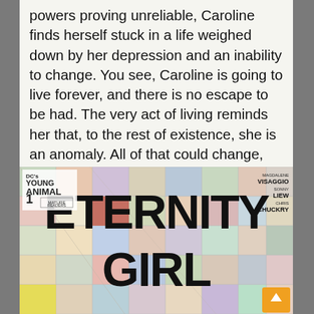powers proving unreliable, Caroline finds herself stuck in a life weighed down by her depression and an inability to change. You see, Caroline is going to live forever, and there is no escape to be had. The very act of living reminds her that, to the rest of existence, she is an anomaly. All of that could change, however, when her old foe, Madame Atom, comes to her with an intriguing offer. Madame Atom can give Caroline the power to end her life; she just has to destroy the rest of the world.
[Figure (illustration): Comic book cover for 'Eternity Girl' #1 published by DC's Young Animal imprint. Features large bold black block letters spelling ETERNITY GIRL over a colorful grid/mosaic background of pastel squares. Credits: Magdalene Visaggio (writer), Sonny Liew (artist), Chris Chuckry (colorist). Issue 1, Mature Readers label. Orange scroll-to-top button in bottom-right corner.]